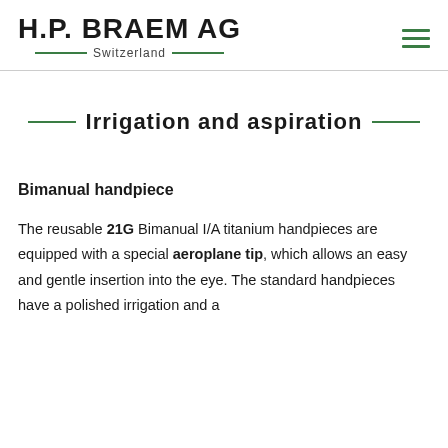H.P. BRAEM AG Switzerland
Irrigation and aspiration
Bimanual handpiece
The reusable 21G Bimanual I/A titanium handpieces are equipped with a special aeroplane tip, which allows an easy and gentle insertion into the eye. The standard handpieces have a polished irrigation and a